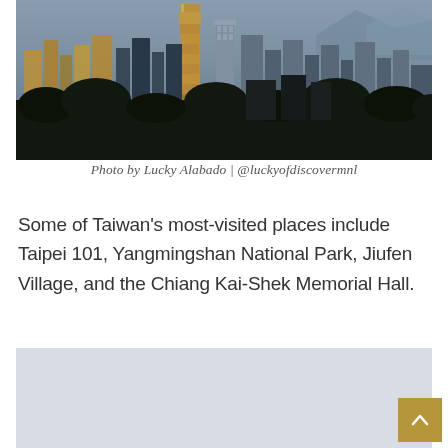[Figure (photo): Aerial cityscape of Taipei, Taiwan at dusk/golden hour, showing dense urban skyline with Taipei 101 skyscraper prominent, surrounded by other tall buildings, trees in foreground, mountains in background under grey-blue sky.]
Photo by Lucky Alabado | @luckyofdiscovermnl
Some of Taiwan's most-visited places include Taipei 101, Yangmingshan National Park, Jiufen Village, and the Chiang Kai-Shek Memorial Hall.
[Figure (photo): Partially visible second photo, light grey/blue tones, content not fully visible.]